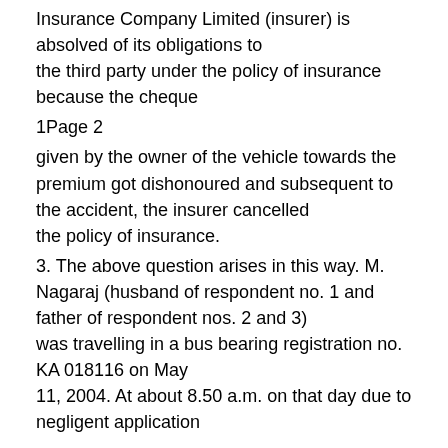Insurance Company Limited (insurer) is absolved of its obligations to the third party under the policy of insurance because the cheque
1Page 2
given by the owner of the vehicle towards the premium got dishonoured and subsequent to the accident, the insurer cancelled the policy of insurance.
3. The above question arises in this way. M. Nagaraj (husband of respondent no. 1 and father of respondent nos. 2 and 3) was travelling in a bus bearing registration no. KA 018116 on May 11, 2004. At about 8.50 a.m. on that day due to negligent application